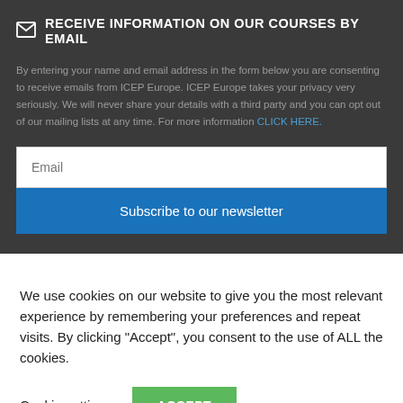RECEIVE INFORMATION ON OUR COURSES BY EMAIL
By entering your name and email address in the form below you are consenting to receive emails from ICEP Europe. ICEP Europe takes your privacy very seriously. We will never share your details with a third party and you can opt out of our mailing lists at any time. For more information CLICK HERE.
Email
Subscribe to our newsletter
We use cookies on our website to give you the most relevant experience by remembering your preferences and repeat visits. By clicking “Accept”, you consent to the use of ALL the cookies.
Cookie settings
ACCEPT